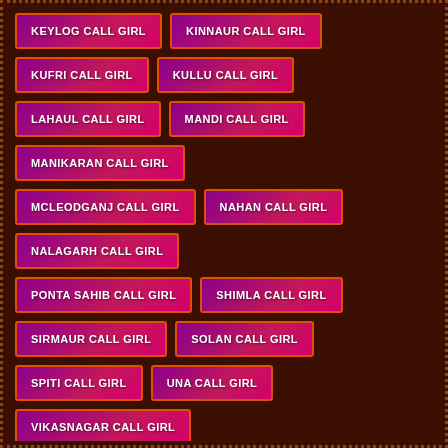KEYLOG CALL GIRL
KINNAUR CALL GIRL
KUFRI CALL GIRL
KULLU CALL GIRL
LAHAUL CALL GIRL
MANDI CALL GIRL
MANIKARAN CALL GIRL
MCLEODGANJ CALL GIRL
NAHAN CALL GIRL
NALAGARH CALL GIRL
PONTA SAHIB CALL GIRL
SHIMLA CALL GIRL
SIRMAUR CALL GIRL
SOLAN CALL GIRL
SPITI CALL GIRL
UNA CALL GIRL
VIKASNAGAR CALL GIRL